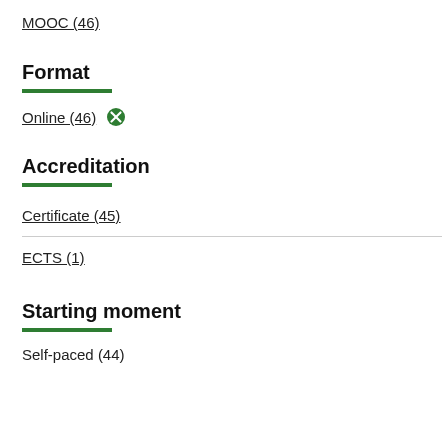MOOC (46)
Format
Online (46) ✕
Accreditation
Certificate (45)
ECTS (1)
Starting moment
Self-paced (44)